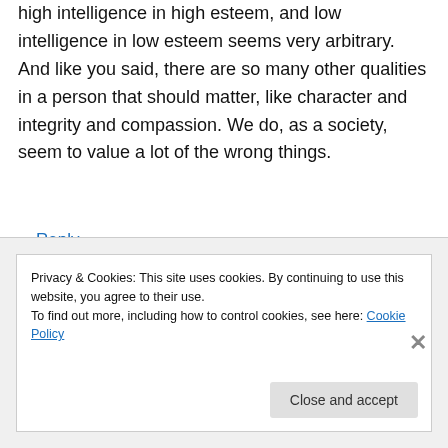high intelligence in high esteem, and low intelligence in low esteem seems very arbitrary. And like you said, there are so many other qualities in a person that should matter, like character and integrity and compassion. We do, as a society, seem to value a lot of the wrong things.
↳ Reply
Privacy & Cookies: This site uses cookies. By continuing to use this website, you agree to their use. To find out more, including how to control cookies, see here: Cookie Policy
Close and accept